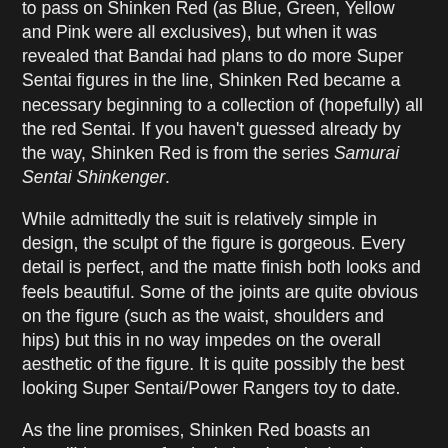to pass on Shinken Red (as Blue, Green, Yellow and Pink were all exclusives), but when it was revealed that Bandai had plans to do more Super Sentai figures in the line, Shinken Red became a necessary beginning to a collection of (hopefully) all the red Sentai. If you haven't guessed already by the way, Shinken Red is from the series Samurai Sentai Shinkenger.
While admittedly the suit is relatively simple in design, the sculpt of the figure is gorgeous. Every detail is perfect, and the matte finish both looks and feels beautiful. Some of the joints are quite obvious on the figure (such as the waist, shoulders and hips) but this in no way impedes on the overall aesthetic of the figure. It is quite possibly the best looking Super Sentai/Power Rangers toy to date.
As the line promises, Shinken Red boasts an incredible range of articulation. I apologise that my pictures do not truly express this, as the joints system in taking a little bit of getting used too...especially in the shoulders department. While the hinged shoulder pieces attached to ball-jointed arm pieces is a great feat of toy-engineering, it does at times feel like too much pressure will cause the shoulders to snap